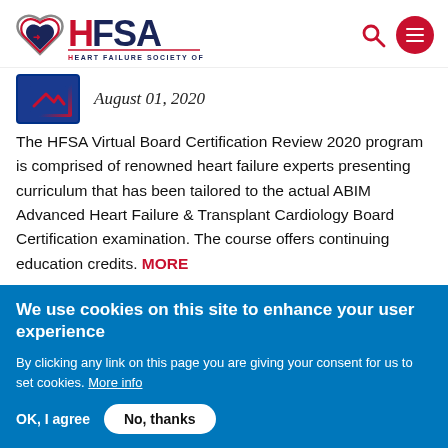[Figure (logo): HFSA Heart Failure Society of America logo with heart icon]
August 01, 2020
The HFSA Virtual Board Certification Review 2020 program is comprised of renowned heart failure experts presenting curriculum that has been tailored to the actual ABIM Advanced Heart Failure & Transplant Cardiology Board Certification examination. The course offers continuing education credits. MORE
We use cookies on this site to enhance your user experience
By clicking any link on this page you are giving your consent for us to set cookies. More info
OK, I agree
No, thanks